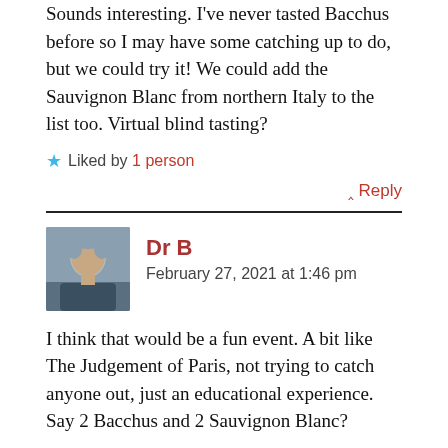Sounds interesting. I've never tasted Bacchus before so I may have some catching up to do, but we could try it! We could add the Sauvignon Blanc from northern Italy to the list too. Virtual blind tasting?
★ Liked by 1 person
^ Reply
Dr B
February 27, 2021 at 1:46 pm
I think that would be a fun event. A bit like The Judgement of Paris, not trying to catch anyone out, just an educational experience. Say 2 Bacchus and 2 Sauvignon Blanc?